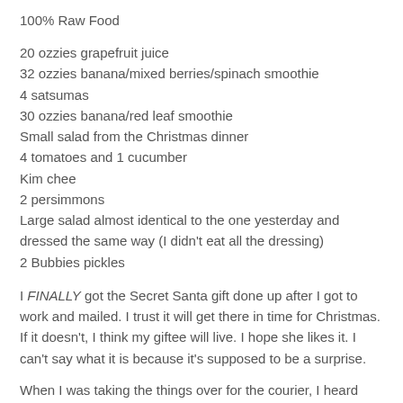100% Raw Food
20 ozzies grapefruit juice
32 ozzies banana/mixed berries/spinach smoothie
4 satsumas
30 ozzies banana/red leaf smoothie
Small salad from the Christmas dinner
4 tomatoes and 1 cucumber
Kim chee
2 persimmons
Large salad almost identical to the one yesterday and dressed the same way (I didn't eat all the dressing)
2 Bubbies pickles
I FINALLY got the Secret Santa gift done up after I got to work and mailed. I trust it will get there in time for Christmas. If it doesn't, I think my giftee will live. I hope she likes it. I can't say what it is because it's supposed to be a surprise.
When I was taking the things over for the courier, I heard someone yell at me. It was my friend coming out of the